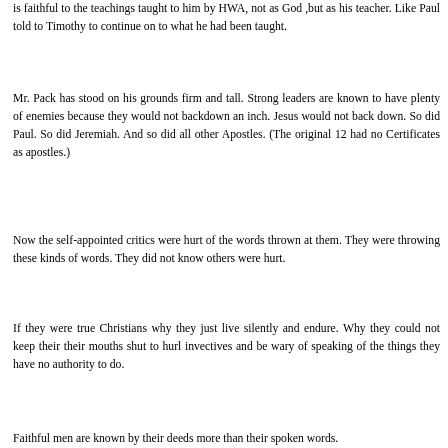is faithful to the teachings taught to him by HWA, not as God ,but as his teacher. Like Paul told to Timothy to continue on to what he had been taught.
Mr. Pack has stood on his grounds firm and tall. Strong leaders are known to have plenty of enemies because they would not backdown an inch. Jesus would not back down. So did Paul. So did Jeremiah. And so did all other Apostles. (The original 12 had no Certificates as apostles.)
Now the self-appointed critics were hurt of the words thrown at them. They were throwing these kinds of words. They did not know others were hurt.
If they were true Christians why they just live silently and endure. Why they could not keep their their mouths shut to hurl invectives and be wary of speaking of the things they have no authority to do.
Faithful men are known by their deeds more than their spoken words.
As I said before, if you think you are better, start your own